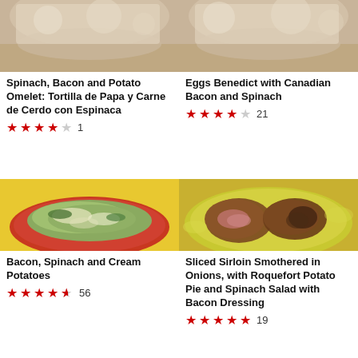[Figure (photo): Top portion of a dish with flour/powder, top-left card]
Spinach, Bacon and Potato Omelet: Tortilla de Papa y Carne de Cerdo con Espinaca
★★★★☆ 1
[Figure (photo): Top portion of a dish with flour/powder, top-right card]
Eggs Benedict with Canadian Bacon and Spinach
★★★★☆ 21
[Figure (photo): Spinach and cream dish on a red plate with yellow background]
Bacon, Spinach and Cream Potatoes
★★★★½ 56
[Figure (photo): Sliced sirloin meat on a yellow-green plate]
Sliced Sirloin Smothered in Onions, with Roquefort Potato Pie and Spinach Salad with Bacon Dressing
★★★★★ 19